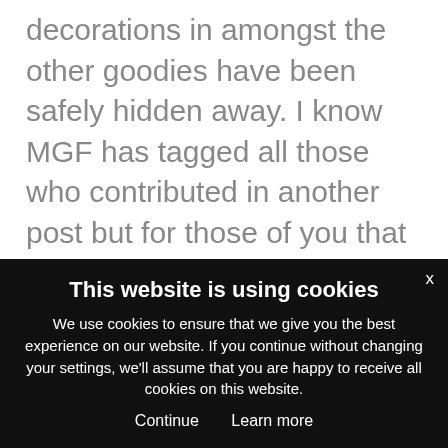decorations in amongst the other goodies have been safely hidden away. I know MGF has tagged all those who contributed in another post but for those of you that weren't mentioned I am so very touched by your generosity and literally everything has been thought about from table decorations, Christmas decorations, food, indoor baking and fun activities to do in half term, wonderful gifts both useful and fun, spending money, outings, alcohol, Christmas Eve night in essentials even bloody Pyjamas and a babysitting coupon. I mean it couldn't be more perfect – except for the giant box of tissues to wipe my eyes as I was crying nearly 3 days
This website is using cookies
We use cookies to ensure that we give you the best experience on our website. If you continue without changing your settings, we'll assume that you are happy to receive all cookies on this website.
Continue   Learn more